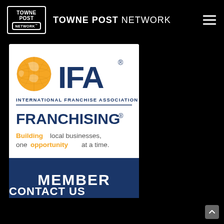TOWNE POST NETWORK
[Figure (logo): IFA International Franchise Association Member badge. White background with orange globe icon and dark navy IFA letters. Text: INTERNATIONAL FRANCHISE ASSOCIATION. FRANCHISING® Building local businesses, one opportunity at a time. Dark navy MEMBER bar at bottom.]
CONTACT US